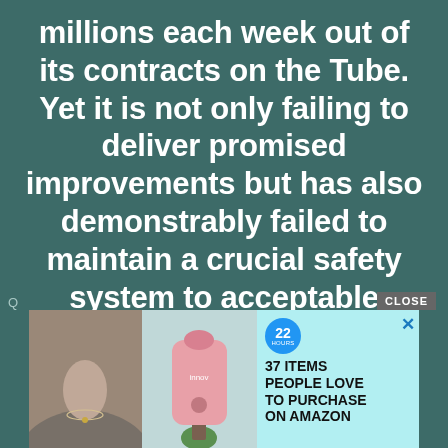millions each week out of its contracts on the Tube. Yet it is not only failing to deliver promised improvements but has also demonstrably failed to maintain a crucial safety system to acceptable standards.
[Figure (screenshot): Advertisement banner with cyan background showing two product images on the left, and text '37 ITEMS PEOPLE LOVE TO PURCHASE ON AMAZON' on the right with a blue badge showing '22' and an X close button. A grey 'CLOSE' button appears above the ad.]